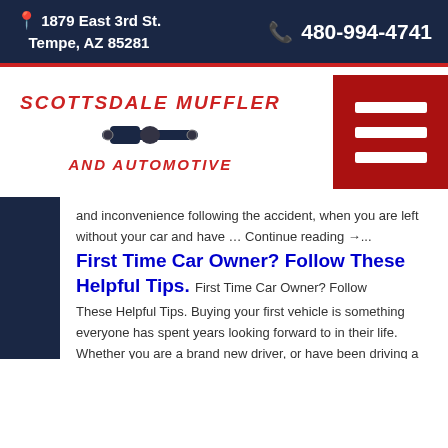1879 East 3rd St. Tempe, AZ 85281   480-994-4741
[Figure (logo): Scottsdale Muffler and Automotive logo with muffler icon and red menu button]
and inconvenience following the accident, when you are left without your car and have … Continue reading →...
First Time Car Owner? Follow These Helpful Tips.
First Time Car Owner? Follow These Helpful Tips. Buying your first vehicle is something everyone has spent years looking forward to in their life. Whether you are a brand new driver, or have been driving a while and are finally … Continue reading →...
The Arizona Teen Car Buyer Guide
The